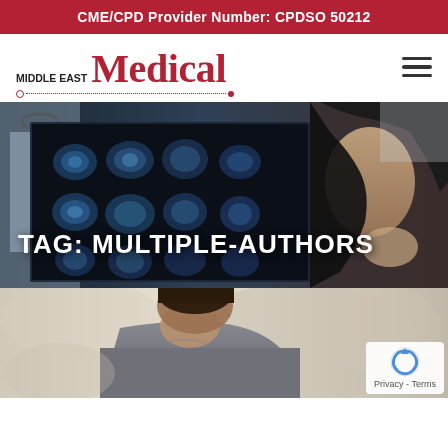CME/CPD Provider Number: CPDSO 50212
[Figure (logo): Middle East Medical logo with red serif Medical text and dotted underline]
[Figure (photo): Doctor and patient looking at brain MRI scan X-rays, hero banner image]
TAG: MULTIPLE-AUTHORS
[Figure (photo): Man in grey shirt looking down, partial portrait photo]
Privacy - Terms